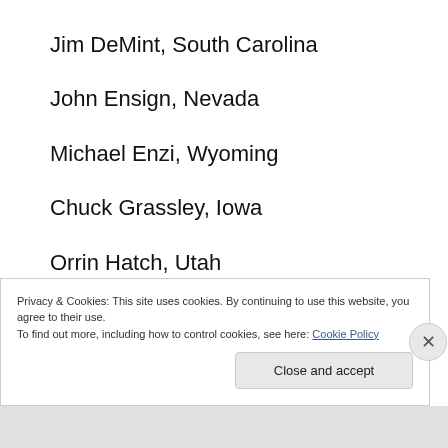Jim DeMint, South Carolina
John Ensign, Nevada
Michael Enzi, Wyoming
Chuck Grassley, Iowa
Orrin Hatch, Utah
Kay Bailey Hutchison, Texas
James Inhofe, Oklahoma
Privacy & Cookies: This site uses cookies. By continuing to use this website, you agree to their use.
To find out more, including how to control cookies, see here: Cookie Policy